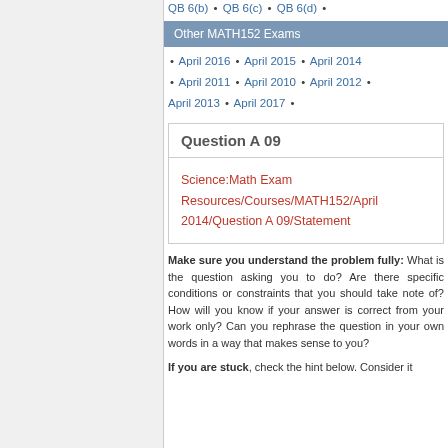QB 6(b) • QB 6(c) • QB 6(d) •
Other MATH152 Exams
• April 2016 • April 2015 • April 2014 • April 2011 • April 2010 • April 2012 • April 2013 • April 2017 •
| Question A 09 |
| Science:Math Exam Resources/Courses/MATH152/April 2014/Question A 09/Statement |
Make sure you understand the problem fully: What is the question asking you to do? Are there specific conditions or constraints that you should take note of? How will you know if your answer is correct from your work only? Can you rephrase the question in your own words in a way that makes sense to you?
If you are stuck, check the hint below. Consider it